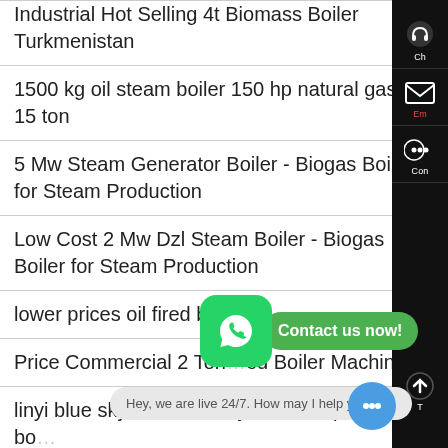Industrial Hot Selling 4t Biomass Boiler Turkmenistan
1500 kg oil steam boiler 150 hp natural gas 15 ton
5 Mw Steam Generator Boiler - Biogas Boiler for Steam Production
Low Cost 2 Mw Dzl Steam Boiler - Biogas Boiler for Steam Production
lower prices oil fired boiler
Price Commercial 2 Ton … ed Boiler Machine
linyi blue sky boiler factory biomass particle bo…
4 Ton Oil Powered Boiler Dealer Latvia
[Figure (screenshot): WhatsApp contact popup with green icon and 'Contact us now!' bubble, and live chat bar saying 'Hey, we are live 24/7. How may I help you?']
[Figure (screenshot): Right sidebar with dark background showing chat (headset), email envelope, and other contact icons with labels 'Ch', 'Em', 'Con', and up arrow]